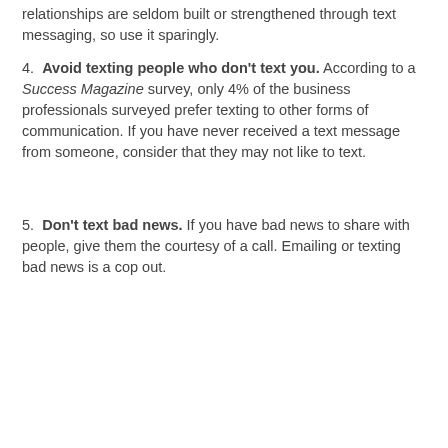relationships are seldom built or strengthened through text messaging, so use it sparingly.
4. Avoid texting people who don't text you. According to a Success Magazine survey, only 4% of the business professionals surveyed prefer texting to other forms of communication. If you have never received a text message from someone, consider that they may not like to text.
5. Don't text bad news. If you have bad news to share with people, give them the courtesy of a call. Emailing or texting bad news is a cop out.